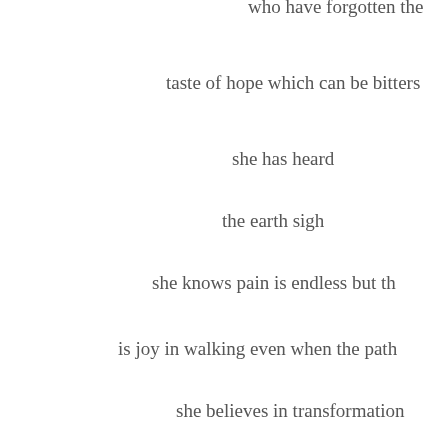who have forgotten the
taste of hope which can be bitters
she has heard
the earth sigh
she knows pain is endless but th
is joy in walking even when the path
she believes in transformation
she has seen the wind
blow everything away
realized